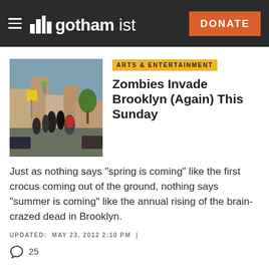gothamist — DONATE
[Figure (photo): Street scene in Brooklyn with people running and yellow pedestrian crossing signs, urban street setting with buildings and cars]
ARTS & ENTERTAINMENT
Zombies Invade Brooklyn (Again) This Sunday
Just as nothing says "spring is coming" like the first crocus coming out of the ground, nothing says "summer is coming" like the annual rising of the brain-crazed dead in Brooklyn.
UPDATED: MAY 23, 2012 2:10 PM |
25